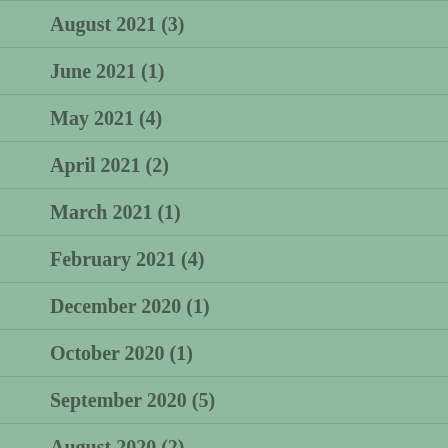August 2021 (3)
June 2021 (1)
May 2021 (4)
April 2021 (2)
March 2021 (1)
February 2021 (4)
December 2020 (1)
October 2020 (1)
September 2020 (5)
August 2020 (2)
July 2020 (9)